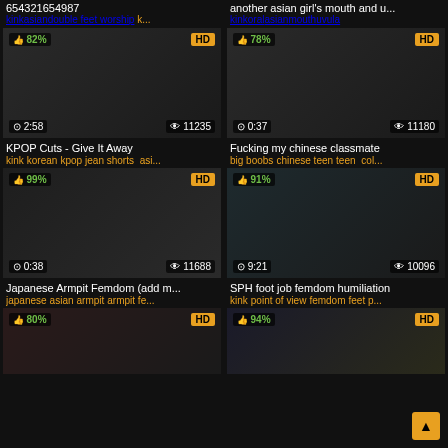654321654987
kink asian double feet worship k...
another asian girl's mouth and u...
kink oral asian mouth uvula
[Figure (photo): Video thumbnail - KPOP Cuts Give It Away, 82% rating, HD, 2:58, 11235 views]
[Figure (photo): Video thumbnail - Fucking my chinese classmate, 78% rating, HD, 0:37, 11180 views]
KPOP Cuts - Give It Away
kink korean kpop jean shorts asi...
Fucking my chinese classmate
big boobs chinese teen teen col...
[Figure (photo): Video thumbnail - Japanese Armpit Femdom (add m..., 99% rating, HD, 0:38, 11688 views]
[Figure (photo): Video thumbnail - SPH foot job femdom humiliation, 91% rating, HD, 9:21, 10096 views]
Japanese Armpit Femdom (add m...
japanese asian armpit armpit fe...
SPH foot job femdom humiliation
kink point of view femdom feet p...
[Figure (photo): Video thumbnail - 80% rating, HD, partial view]
[Figure (photo): Video thumbnail - 94% rating, HD, partial view]